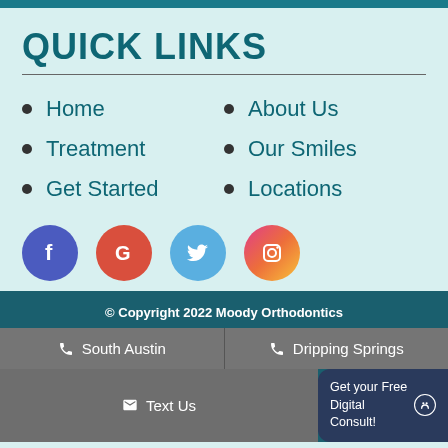QUICK LINKS
Home
About Us
Treatment
Our Smiles
Get Started
Locations
[Figure (infographic): Social media icon buttons: Facebook (purple/blue circle with 'f'), Google (red circle with 'G'), Twitter (blue circle with bird), Instagram (gradient pink-orange circle with camera icon)]
© Copyright 2022 Moody Orthodontics
South Austin
Dripping Springs
Text Us
Get your Free Digital Consult!